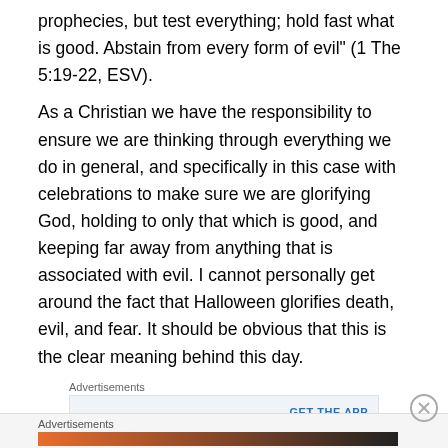prophecies, but test everything; hold fast what is good. Abstain from every form of evil" (1 The 5:19-22, ESV).
As a Christian we have the responsibility to ensure we are thinking through everything we do in general, and specifically in this case with celebrations to make sure we are glorifying God, holding to only that which is good, and keeping far away from anything that is associated with evil. I cannot personally get around the fact that Halloween glorifies death, evil, and fear. It should be obvious that this is the clear meaning behind this day.
[Figure (other): Advertisement box: 'Build a writing habit. Post on the go.' with 'GET THE APP' button and WordPress logo]
Halloween movies more often than not feature brutal